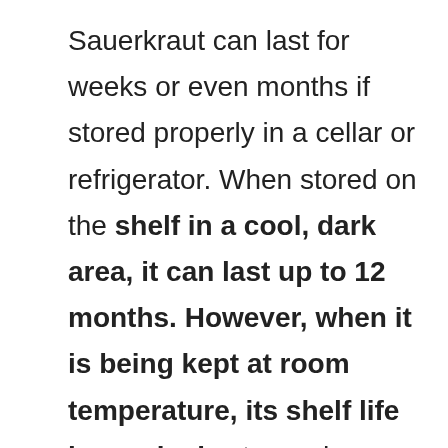Sauerkraut can last for weeks or even months if stored properly in a cellar or refrigerator. When stored on the shelf in a cool, dark area, it can last up to 12 months. However, when it is being kept at room temperature, its shelf life is much shorter and can be as short as 3 weeks. The best way to tell if sauerkraut is bad is to smell it. If you notice a strong smell of vinegar, then there's probably some mold growing